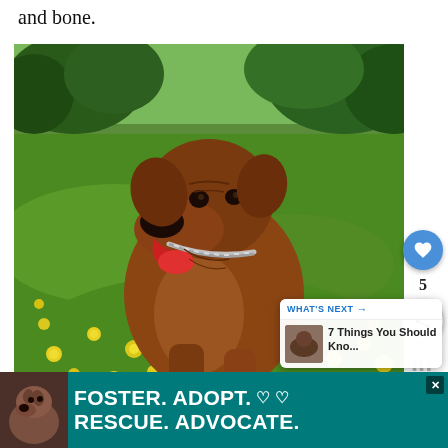and bone.
[Figure (photo): Large brown Boerboel/mastiff-type dog sitting in a meadow field full of yellow dandelions and green grass, with trees in the background. The dog wears a chain collar and has its mouth open with tongue out, looking upward.]
[Figure (screenshot): UI overlay showing a blue heart/like button with count '5' and a share button on the right side of the photo]
[Figure (screenshot): What's Next overlay in bottom-right of photo: header 'WHAT'S NEXT →' with thumbnail and text '7 Things You Should Kno...']
[Figure (infographic): Advertisement banner at bottom: teal/green background with a pit bull dog photo on left side and bold white text reading 'FOSTER. ADOPT. ♡ ♡ RESCUE. ADVOCATE.' with a close X button]